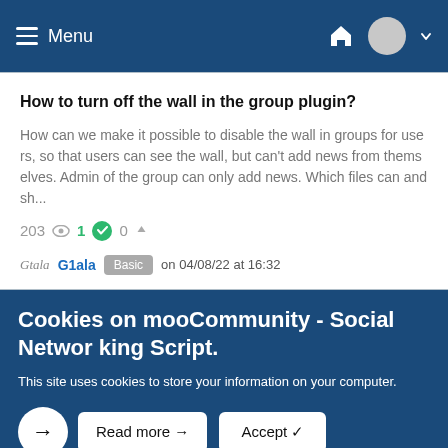Menu
How to turn off the wall in the group plugin?
How can we make it possible to disable the wall in groups for users, so that users can see the wall, but can't add news from themselves. Admin of the group can only add news. Which files can and sh...
203  1  0
G1ala  Basic  on 04/08/22 at 16:32
Cookies on mooCommunity - Social Networking Script.
This site uses cookies to store your information on your computer.
Read more →  Accept ✓